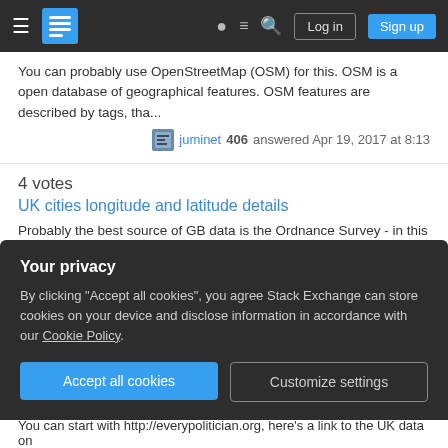Stack Exchange navigation bar with hamburger menu, logo, help, chat, search icons, Log in and Sign up buttons
You can probably use OpenStreetMap (OSM) for this. OSM is a open database of geographical features. OSM features are described by tags, tha...
juminet 406 answered Apr 19, 2017 at 8:13
4 votes
UK cities longitude and latitude details
Probably the best source of GB data is the Ordnance Survey - in this case you want the Open-Names product.
Ian Turton 771 answered Apr 19, 2017 at 9:11
4 votes
UK cities longitude and latitude details
Your privacy
By clicking "Accept all cookies", you agree Stack Exchange can store cookies on your device and disclose information in accordance with our Cookie Policy.
Accept all cookies
Customize settings
You can start with http://everypolitician.org, here's a link to the UK data on